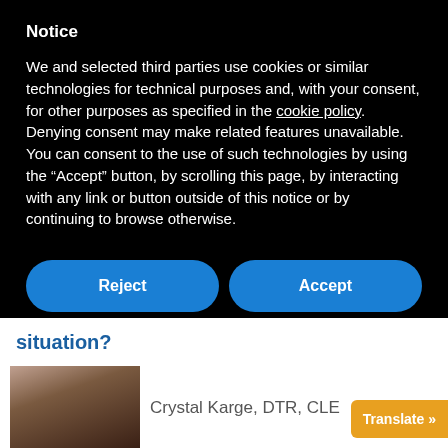Notice
We and selected third parties use cookies or similar technologies for technical purposes and, with your consent, for other purposes as specified in the cookie policy. Denying consent may make related features unavailable.
You can consent to the use of such technologies by using the “Accept” button, by scrolling this page, by interacting with any link or button outside of this notice or by continuing to browse otherwise.
Reject
Accept
Learn more and customize
situation?
[Figure (photo): Profile photo of Crystal Karge]
Crystal Karge, DTR, CLEC
Translate »